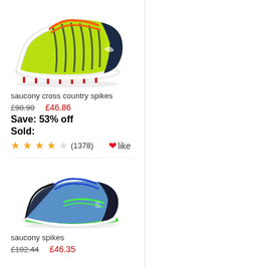[Figure (photo): Saucony cross country spike shoe in neon yellow/green with orange laces and black stripes, with red spikes on sole]
saucony cross country spikes
£98.90  £46.86
Save: 53% off
Sold:
★★★★☆ (1378)  ❤ like
[Figure (photo): Saucony spike running shoe in blue/grey with green accents]
saucony spikes
£102.44  £46.35